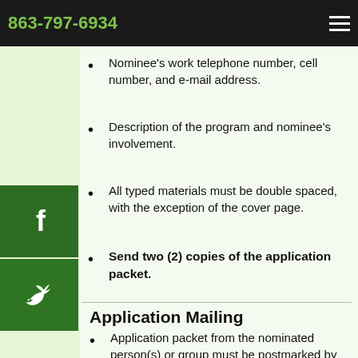Tutoring or coaching program name; street address; city; state; ZIP code.
Nominee's work telephone number, cell number, and e-mail address.
Description of the program and nominee's involvement.
All typed materials must be double spaced, with the exception of the cover page.
Send two (2) copies of the application packet.
Application Mailing
Application packet from the nominated person(s) or group must be postmarked by December 31, 2020.